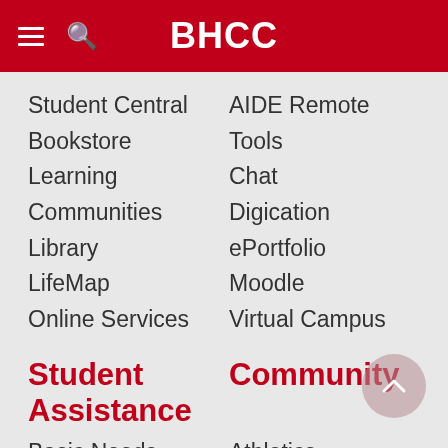BHCC
Student Central
Bookstore
Learning Communities
Library
LifeMap
Online Services
AIDE Remote Tools
Chat
Digication ePortfolio
Moodle
Virtual Campus
Student Assistance
Community
Basic Needs
Athletics
Art Gallery